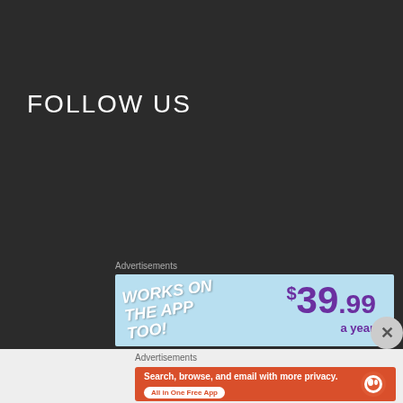FOLLOW US
Advertisements
[Figure (screenshot): Advertisement banner: 'WORKS ON THE APP TOO!' with price $39.99 a year on light blue background]
[Figure (screenshot): Close/X button circle]
Advertisements
[Figure (screenshot): DuckDuckGo advertisement: 'Search, browse, and email with more privacy. All in One Free App' on orange background with phone showing DuckDuckGo logo]